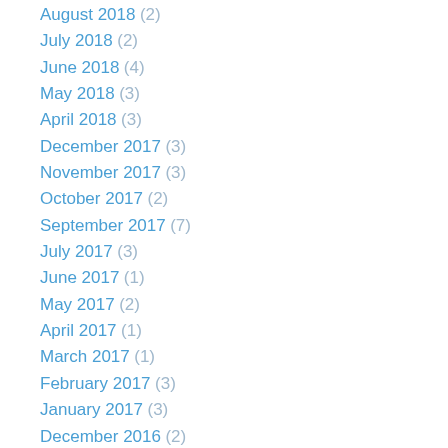August 2018 (2)
July 2018 (2)
June 2018 (4)
May 2018 (3)
April 2018 (3)
December 2017 (3)
November 2017 (3)
October 2017 (2)
September 2017 (7)
July 2017 (3)
June 2017 (1)
May 2017 (2)
April 2017 (1)
March 2017 (1)
February 2017 (3)
January 2017 (3)
December 2016 (2)
November 2016 (3)
October 2016 (2)
September 2016 (3)